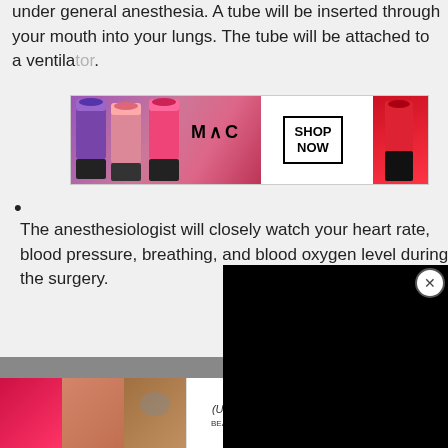under general anesthesia. A tube will be inserted through your mouth into your lungs. The tube will be attached to a ventila[tor].
[Figure (illustration): MAC cosmetics advertisement showing lipstick tubes and 'SHOP NOW' button]
The anesthesiologist will closely watch your heart rate, blood pressure, breathing, and blood oxygen level during the surgery.
The skin over the surgical site w[ill be cleaned with an] antiseptic solution.
[Figure (screenshot): Black video player overlay with close (X) button]
[Figure (illustration): ULTA Beauty cosmetics advertisement with 'CLOSE' button and 'SHOP NOW' button]